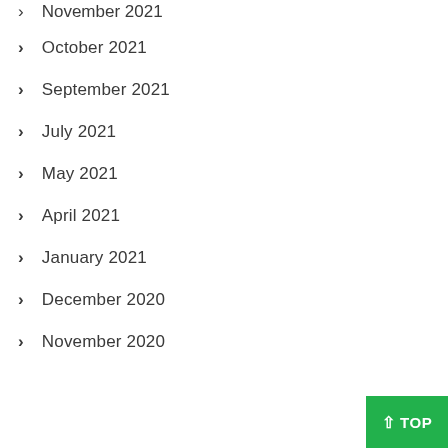November 2021
October 2021
September 2021
July 2021
May 2021
April 2021
January 2021
December 2020
November 2020